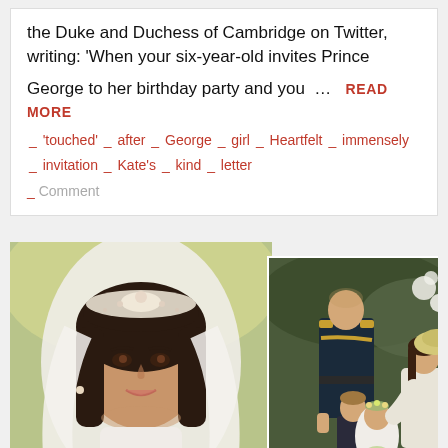the Duke and Duchess of Cambridge on Twitter, writing: 'When your six-year-old invites Prince George to her birthday party and you …
READ MORE
'touched' _ after _ George _ girl _ Heartfelt _ immensely _ invitation _ Kate's _ kind _ letter
Comment
[Figure (photo): Close-up photo of a woman (Meghan Markle) in wedding attire wearing a tiara and veil, smiling]
[Figure (photo): Photo of Prince William in military uniform with Kate Middleton (in cream outfit), Prince George, and a flower girl at a wedding]